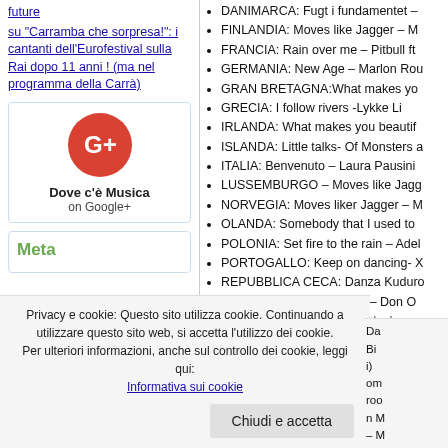future su "Carramba che sorpresa!": i cantanti dell'Eurofestival sulla Rai dopo 11 anni ! (ma nel programma della Carrà)
[Figure (logo): Google+ logo circle with G+ text, labeled 'Dove c'è Musica on Google+']
Meta
DANIMARCA: Fugt i fundamentet –
FINLANDIA: Moves like Jagger – M
FRANCIA:  Rain over me – Pitbull ft
GERMANIA: New Age – Marlon Rou
GRAN BRETAGNA:What makes yo
GRECIA: I follow rivers -Lykke Li
IRLANDA: What makes you beautif
ISLANDA: Little talks- Of Monsters a
ITALIA: Benvenuto – Laura Pausini
LUSSEMBURGO – Moves like Jagg
NORVEGIA: Moves liker Jagger – M
OLANDA:  Somebody that I used to
POLONIA: Set fire to the rain – Adel
PORTOGALLO: Keep on dancing- X
REPUBBLICA CECA: Danza Kudur
ROMANIA: Danza Kuduro – Don O
RUSSIA:  Na Bol'shom Vozdushnom
Privacy e cookie: Questo sito utilizza cookie. Continuando a utilizzare questo sito web, si accetta l'utilizzo dei cookie. Per ulteriori informazioni, anche sul controllo dei cookie, leggi qui: Informativa sui cookie
Chiudi e accetta